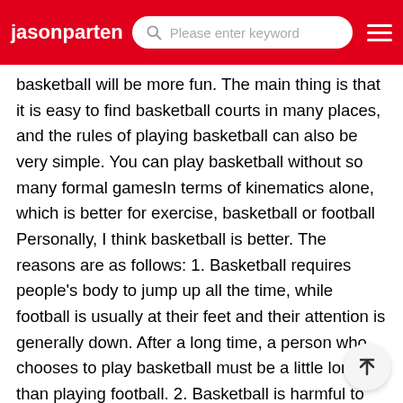jasonparten — Please enter keyword
basketball will be more fun. The main thing is that it is easy to find basketball courts in many places, and the rules of playing basketball can also be very simple. You can play basketball without so many formal gamesIn terms of kinematics alone, which is better for exercise, basketball or football
Personally, I think basketball is better. The reasons are as follows: 1. Basketball requires people's body to jump up all the time, while football is usually at their feet and their attention is generally down. After a long time, a person who chooses to play basketball must be a little longer than playing football. 2. Basketball is harmful to human upper limbsWhich kind of sports do you play more, basketball or football
Football. After all, the size of a football field is more than ten times that of a basketball field, and 90 minutes of football and